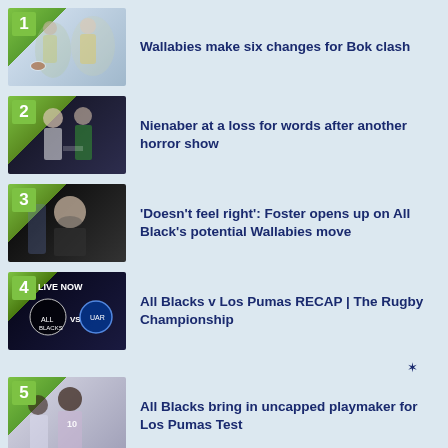1. Wallabies make six changes for Bok clash
2. Nienaber at a loss for words after another horror show
3. 'Doesn't feel right': Foster opens up on All Black's potential Wallabies move
4. All Blacks v Los Pumas RECAP | The Rugby Championship
5. All Blacks bring in uncapped playmaker for Los Pumas Test